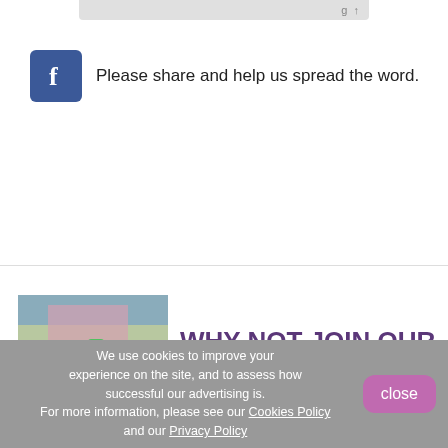[Figure (screenshot): Partial gray UI element at top of page]
Please share and help us spread the word.
[Figure (photo): Group photo of people posing outdoors on a street, one person in a green costume]
WHY NOT JOIN OUR SOCIAL CIRCLE?
We use cookies to improve your experience on the site, and to assess how successful our advertising is. For more information, please see our Cookies Policy and our Privacy Policy